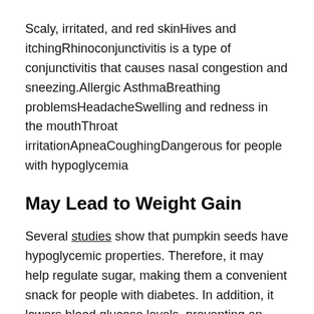Scaly, irritated, and red skinHives and itchingRhinoconjunctivitis is a type of conjunctivitis that causes nasal congestion and sneezing.Allergic AsthmaBreathing problemsHeadacheSwelling and redness in the mouthThroat irritationApneaCoughingDangerous for people with hypoglycemia
May Lead to Weight Gain
Several studies show that pumpkin seeds have hypoglycemic properties. Therefore, it may help regulate sugar, making them a convenient snack for people with diabetes. In addition, it lowers blood glucose levels, preventing an unexpected rise in glucose levels. However, if you have diabetes or hypoglycemia, you should check with